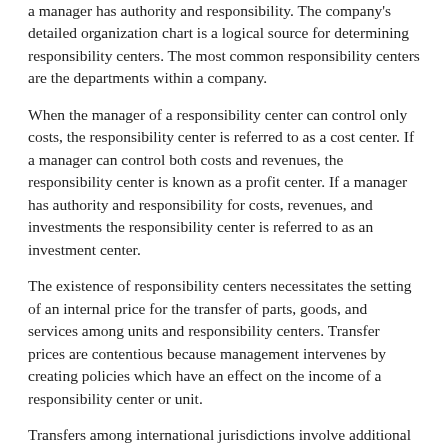a manager has authority and responsibility. The company's detailed organization chart is a logical source for determining responsibility centers. The most common responsibility centers are the departments within a company.
When the manager of a responsibility center can control only costs, the responsibility center is referred to as a cost center. If a manager can control both costs and revenues, the responsibility center is known as a profit center. If a manager has authority and responsibility for costs, revenues, and investments the responsibility center is referred to as an investment center.
The existence of responsibility centers necessitates the setting of an internal price for the transfer of parts, goods, and services among units and responsibility centers. Transfer prices are contentious because management intervenes by creating policies which have an effect on the income of a responsibility center or unit.
Transfers among international jurisdictions involve additional considerations. Not only accounting rules, but income taxation and duties affect pricing strategies. Most countries have regulations to help prevent the use of this pricing method as a means of evading